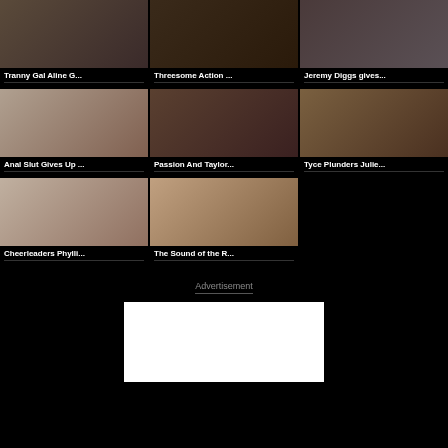[Figure (other): Thumbnail grid of video thumbnails with titles]
Tranny Gal Aline G...
Threesome Action ...
Jeremy Diggs gives...
Anal Slut Gives Up ...
Passion And Taylor...
Tyce Plunders Julie...
Cheerleaders Phylli...
The Sound of the R...
Advertisement